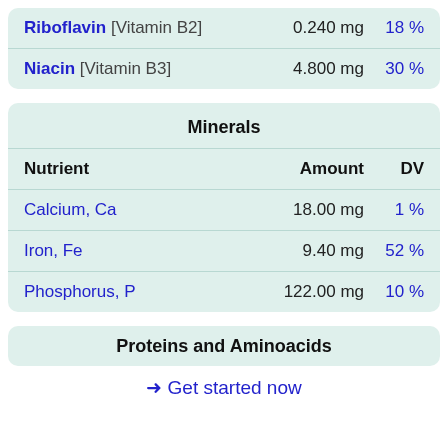| Nutrient | Amount | DV |
| --- | --- | --- |
| Riboflavin [Vitamin B2] | 0.240 mg | 18 % |
| Niacin [Vitamin B3] | 4.800 mg | 30 % |
Minerals
| Nutrient | Amount | DV |
| --- | --- | --- |
| Calcium, Ca | 18.00 mg | 1 % |
| Iron, Fe | 9.40 mg | 52 % |
| Phosphorus, P | 122.00 mg | 10 % |
Proteins and Aminoacids
→ Get started now